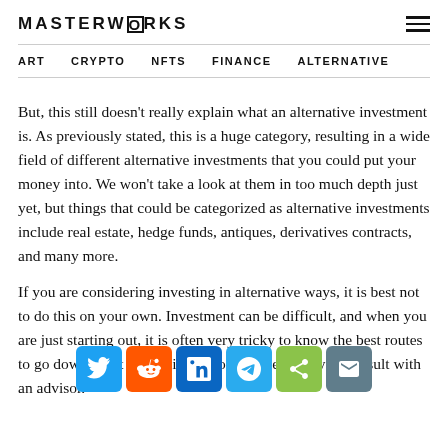MASTERWORKS
ART  CRYPTO  NFTS  FINANCE  ALTERNATIVE
But, this still doesn't really explain what an alternative investment is. As previously stated, this is a huge category, resulting in a wide field of different alternative investments that you could put your money into. We won't take a look at them in too much depth just yet, but things that could be categorized as alternative investments include real estate, hedge funds, antiques, derivatives contracts, and many more.
If you are considering investing in alternative ways, it is best not to do this on your own. Investment can be difficult, and when you are just starting out, it is often very tricky to know the best routes to go down. That is why it is recommended that you consult with an advisor.
[Figure (other): Social sharing icons bar: Twitter (blue), Reddit (orange), LinkedIn (blue), Telegram (light blue), Share (green), Email (grey-blue)]